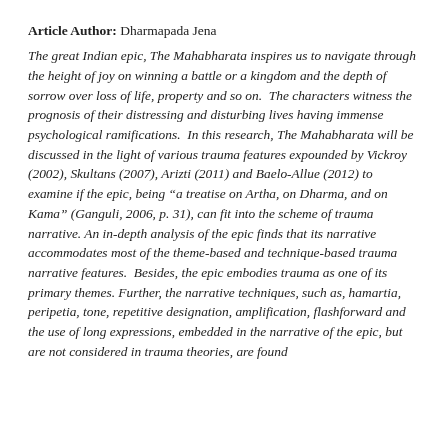Article Author: Dharmapada Jena
The great Indian epic, The Mahabharata inspires us to navigate through the height of joy on winning a battle or a kingdom and the depth of sorrow over loss of life, property and so on. The characters witness the prognosis of their distressing and disturbing lives having immense psychological ramifications. In this research, The Mahabharata will be discussed in the light of various trauma features expounded by Vickroy (2002), Skultans (2007), Arizti (2011) and Baelo-Allue (2012) to examine if the epic, being “a treatise on Artha, on Dharma, and on Kama” (Ganguli, 2006, p. 31), can fit into the scheme of trauma narrative. An in-depth analysis of the epic finds that its narrative accommodates most of the theme-based and technique-based trauma narrative features. Besides, the epic embodies trauma as one of its primary themes. Further, the narrative techniques, such as, hamartia, peripetia, tone, repetitive designation, amplification, flashforward and the use of long expressions, embedded in the narrative of the epic, but are not considered in trauma theories, are found